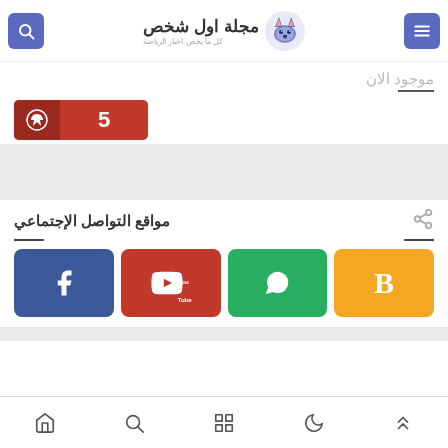مجلة اول شخص — كل ما يخص اخبار الرياضة
موجود الان
5
مواقع التواصل الإجتماعي
[Figure (screenshot): Social media buttons: Facebook (blue), YouTube (red), WhatsApp (green), Blogger (orange)]
Bottom navigation bar with icons: up arrow, moon, grid, search, home